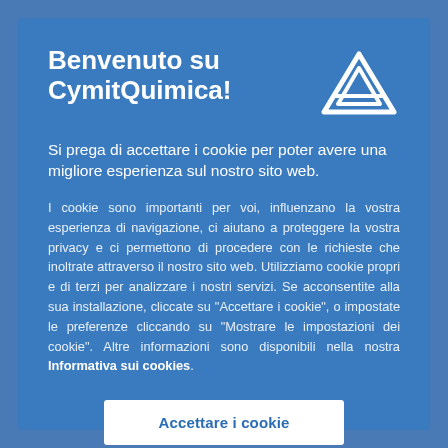Benvenuto su CymitQuimica!
Si prega di accettare i cookie per poter avere una migliore esperienza sul nostro sito web.
I cookie sono importanti per voi, influenzano la vostra esperienza di navigazione, ci aiutano a proteggere la vostra privacy e ci permettono di procedere con le richieste che inoltrate attraverso il nostro sito web. Utilizziamo cookie propri e di terzi per analizzare i nostri servizi. Se acconsentite alla sua installazione, cliccate su "Accettare i cookie", o impostate le preferenze cliccando su "Mostrare le impostazioni dei cookie". Altre informazioni sono disponibili nella nostra informativa sui cookies.
[Figure (logo): CymitQuimica logo: white outline of a triangular/pyramid geometric shape]
Accettare i cookie